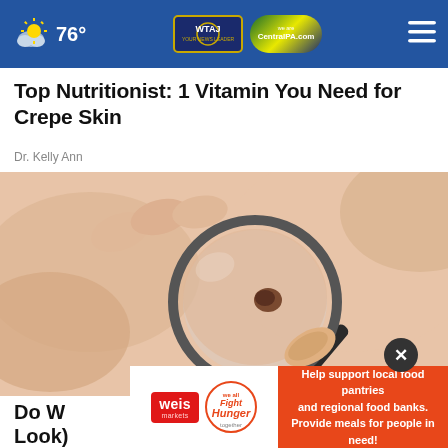76° | WTAJ | CentralPA.com
Top Nutritionist: 1 Vitamin You Need for Crepe Skin
Dr. Kelly Ann
[Figure (photo): Close-up photo of a person's skin being examined with a magnifying glass, showing a mole under magnification. Hands holding a magnifying glass over fair skin.]
[Figure (other): Weis Markets Fight Hunger Together advertisement banner. Left side: Weis Markets logo with Fight Hunger Together text. Right side (orange background): Help support local food pantries and regional food banks. Provide meals for people in need!]
Do W... a Look)